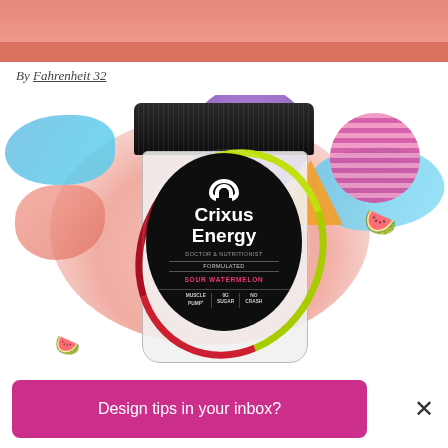[Figure (photo): Top portion of a product photo with salmon/coral background, partially visible at the top of the page]
By Fahrenheit 32
[Figure (photo): Crixus Energy Sour Watermelon supplement powder jar with black lid and decorative colorful background elements including coral blobs, purple blob, blue swoosh, orange triangle, pink striped circle, and watermelon slice illustrations. The black circular label reads: Crixus Energy, Doctor & Nutritionist Formulated, Sour Watermelon, Muscle Pump, 0g Sugar, No Crash.]
Design tips in your inbox?